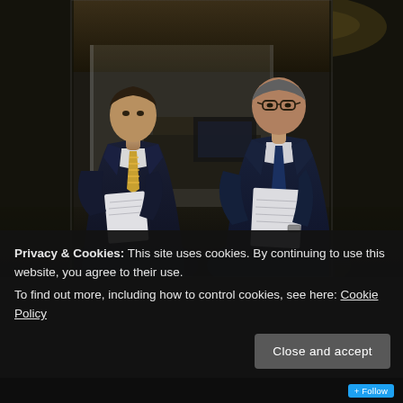[Figure (photo): Two men in dark suits seated in an office setting. The man on the left wears a gold/yellow striped tie and holds papers. The man on the right is older, wearing glasses and a dark blue tie, also holding papers. Modern office background with warm lighting.]
Privacy & Cookies: This site uses cookies. By continuing to use this website, you agree to their use.
To find out more, including how to control cookies, see here: Cookie Policy
Close and accept